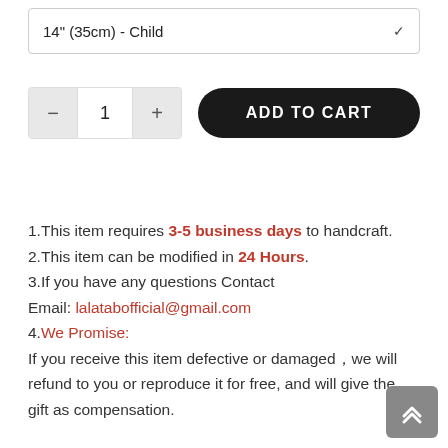14" (35cm) - Child
[Figure (screenshot): Quantity selector with minus button, number 1, plus button, and ADD TO CART button]
1.This item requires 3-5 business days to handcraft.
2.This item can be modified in 24 Hours.
3.If you have any questions Contact Email: lalatabofficial@gmail.com
4.We Promise: If you receive this item defective or damaged,we will refund to you or reproduce it for free, and will give the gift as compensation.